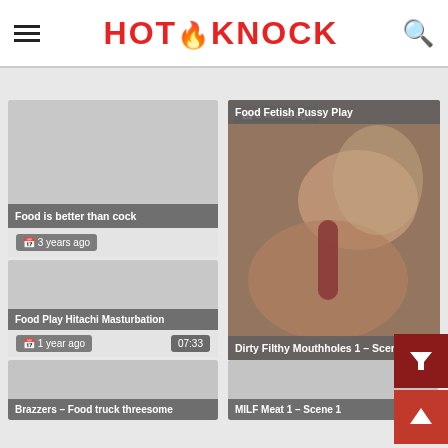HOT KNOCK
[Figure (screenshot): Video thumbnail grid showing adult video website 'Hot Knock' with video cards including titles, dates, and thumbnails]
Food is better than cock
3 years ago
Food Fetish Pussy Play
2 weeks ago
Food Play Hitachi Masturbation
1 year ago
07:33
Dirty Filthy Mouthholes 1 – Scene 4
2 weeks ago
Brazzers – Food truck threesome
MILF Meat 1 – Scene 1